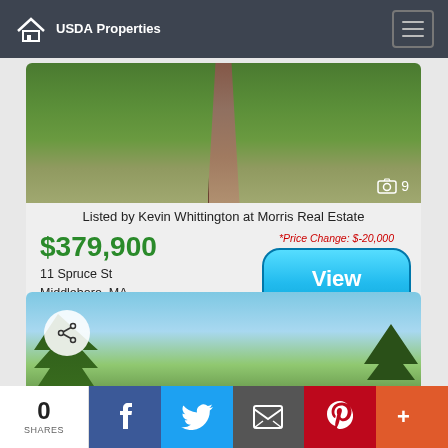USDA Properties
[Figure (photo): Property photo showing a brick walkway through green lawn with trees in background, camera icon with '9' photos indicator]
Listed by Kevin Whittington at Morris Real Estate
*Price Change: $-20,000
$379,900
11 Spruce St
Middleboro, MA
View Details
[Figure (photo): Property photo showing trees and blue sky with share icon overlay]
0 SHARES
Facebook share button
Twitter share button
Email share button
Pinterest share button
More share options button